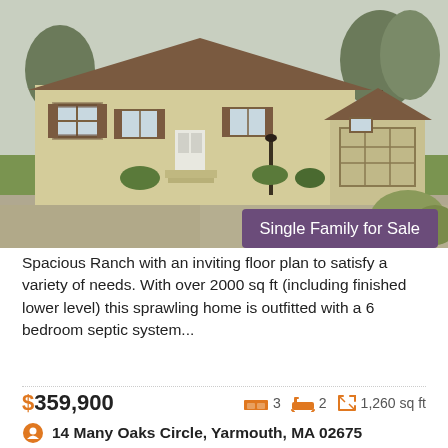[Figure (photo): Exterior photo of a single-story ranch house with yellow siding, brown shutters, green lawn, and trees, with a 'Single Family for Sale' badge overlay]
Spacious Ranch with an inviting floor plan to satisfy a variety of needs. With over 2000 sq ft (including finished lower level) this sprawling home is outfitted with a 6 bedroom septic system...
$359,900   🛏 3   🛁 2   1,260 sq ft
14 Many Oaks Circle, Yarmouth, MA 02675